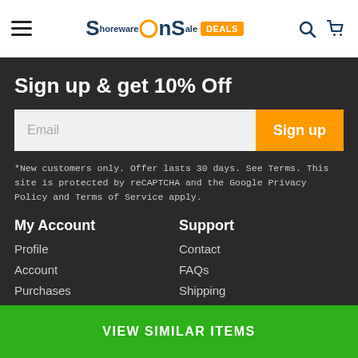[Figure (logo): ShorwareOnSale website header with hamburger menu, logo with orange circle and DEALS badge, search icon, and cart icon]
Sign up & get 10% Off
*New customers only. Offer lasts 30 days. See Terms. This site is protected by reCAPTCHA and the Google Privacy Policy and Terms of Service apply.
My Account
Profile
Account
Purchases
Support
Contact
FAQs
Shipping
VIEW SIMILAR ITEMS